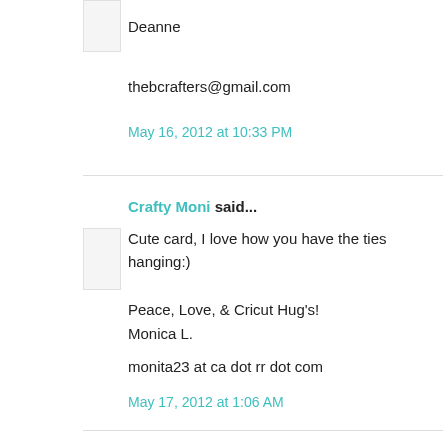Deanne
thebcrafters@gmail.com
May 16, 2012 at 10:33 PM
Crafty Moni said...
Cute card, I love how you have the ties hanging:)
Peace, Love, & Cricut Hug's!
Monica L.
monita23 at ca dot rr dot com
May 17, 2012 at 1:06 AM
Teresa Godines #6857 said...
Loving the ties on a string. Great job.
May 17, 2012 at 9:50 PM